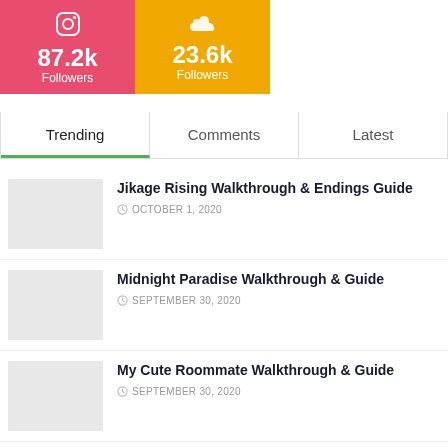[Figure (infographic): Instagram social media box showing 87.2k Followers with pink/red background]
[Figure (infographic): SoundCloud social media box showing 23.6k Followers with orange/yellow background]
Trending | Comments | Latest
Jikage Rising Walkthrough & Endings Guide — OCTOBER 1, 2020
Midnight Paradise Walkthrough & Guide — SEPTEMBER 30, 2020
My Cute Roommate Walkthrough & Guide — SEPTEMBER 30, 2020
Man of the House Debby Guide & Walkthrough (Police Officer)